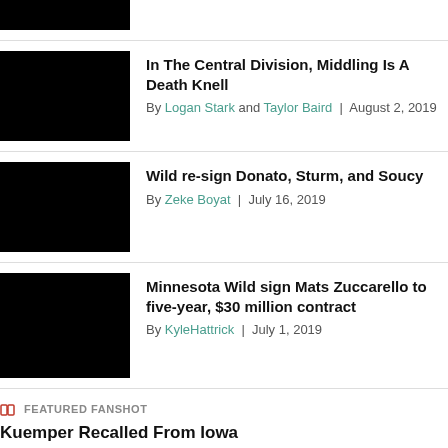[Figure (photo): Black thumbnail image (partial, top of page)]
In The Central Division, Middling Is A Death Knell
By Logan Stark and Taylor Baird | August 2, 2019
[Figure (photo): Black thumbnail image]
Wild re-sign Donato, Sturm, and Soucy
By Zeke Boyat | July 16, 2019
[Figure (photo): Black thumbnail image]
Minnesota Wild sign Mats Zuccarello to five-year, $30 million contract
By KyleHattrick | July 1, 2019
FEATURED FANSHOT
Kuemper Recalled From Iowa
By mntrumpterguy | February 8, 2015